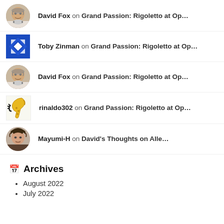David Fox on Grand Passion: Rigoletto at Op…
Toby Zinman on Grand Passion: Rigoletto at Op…
David Fox on Grand Passion: Rigoletto at Op…
rinaldo302 on Grand Passion: Rigoletto at Op…
Mayumi-H on David's Thoughts on Alle…
Archives
August 2022
July 2022